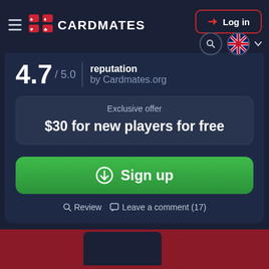CARDMATES
Log in
reputation by Cardmates.org
4.7 / 5.0
Exclusive offer
$30 for new players for free
Sign up
Review  Leave a comment (17)